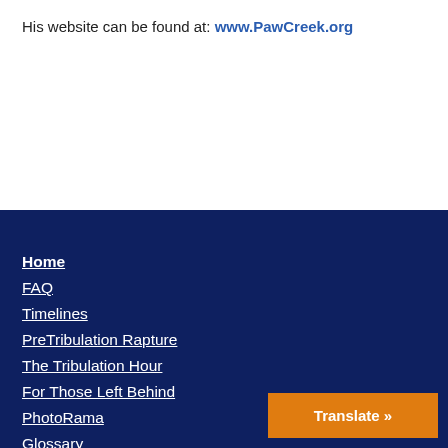His website can be found at: www.PawCreek.org
Home
FAQ
Timelines
PreTribulation Rapture
The Tribulation Hour
For Those Left Behind
PhotoRama
Glossary
Translate »